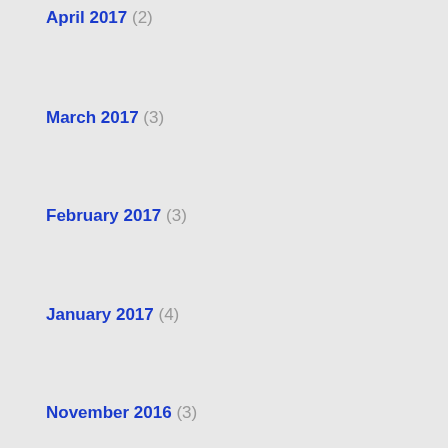April 2017 (2)
March 2017 (3)
February 2017 (3)
January 2017 (4)
November 2016 (3)
October 2016 (1)
July 2016 (1)
June 2016 (1)
May 2016 (1)
April 2016 (2)
March 2016 (4)